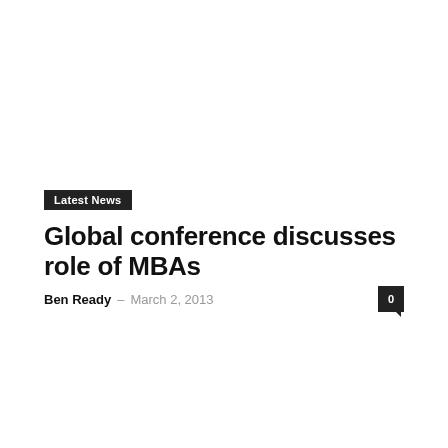Latest News
Global conference discusses role of MBAs
Ben Ready – March 2, 2013